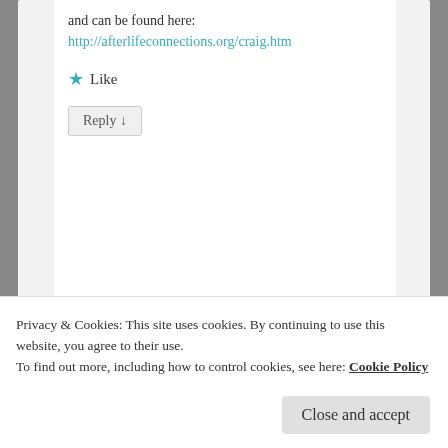and can be found here:
http://afterlifeconnections.org/craig.htm
★ Like
Reply ↓
Pingback: Stemming the Tide of Depression: My First Experience with TM, Pt II
Pingback: Stemming the Tide of Depression with Transcende...
Privacy & Cookies: This site uses cookies. By continuing to use this website, you agree to their use.
To find out more, including how to control cookies, see here: Cookie Policy
Close and accept